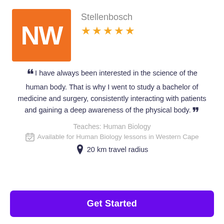[Figure (logo): Orange square avatar with white letters NW]
Stellenbosch
[Figure (other): 5 gold star rating]
I have always been interested in the science of the human body. That is why I went to study a bachelor of medicine and surgery, consistently interacting with patients and gaining a deep awareness of the physical body.
Teaches: Human Biology
Available for Human Biology lessons in Western Cape
20 km travel radius
Get Started